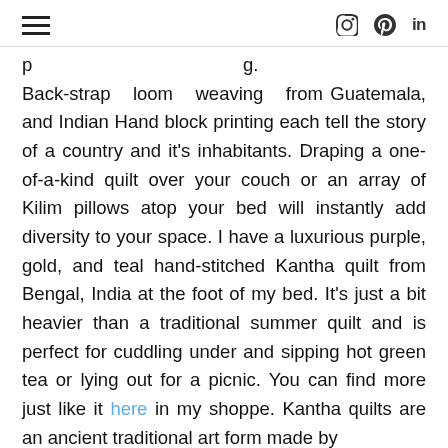[hamburger menu icon] [instagram icon] [pinterest icon] in
p [partially visible] ...g. Back-strap loom weaving from Guatemala, and Indian Hand block printing each tell the story of a country and it's inhabitants. Draping a one-of-a-kind quilt over your couch or an array of Kilim pillows atop your bed will instantly add diversity to your space. I have a luxurious purple, gold, and teal hand-stitched Kantha quilt from Bengal, India at the foot of my bed. It's just a bit heavier than a traditional summer quilt and is perfect for cuddling under and sipping hot green tea or lying out for a picnic. You can find more just like it here in my shoppe. Kantha quilts are an ancient traditional art form made by